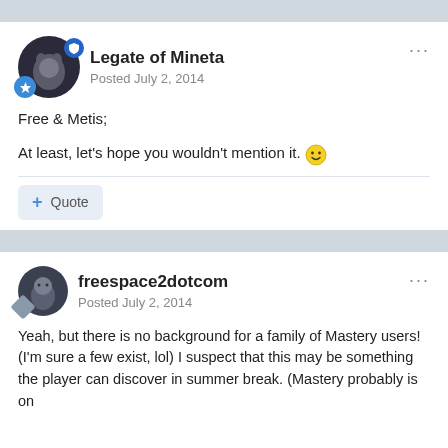Legate of Mineta
Posted July 2, 2014
Free & Metis;
At least, let's hope you wouldn't mention it. 🙂
Quote
freespace2dotcom
Posted July 2, 2014
Yeah, but there is no background for a family of Mastery users! (I'm sure a few exist, lol) I suspect that this may be something the player can discover in summer break. (Mastery probably is on